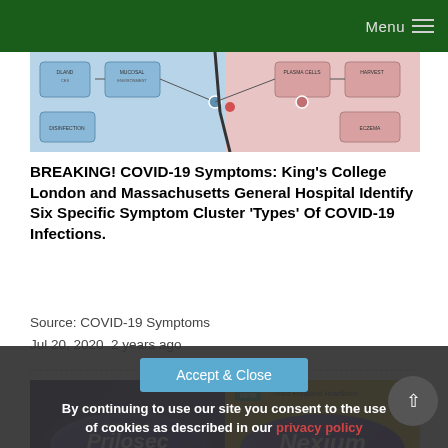Menu
[Figure (illustration): Medical diagram showing immune system / COVID-19 infection pathway illustration with blue and pink sections, cells and nodes]
BREAKING! COVID-19 Symptoms: King's College London and Massachusetts General Hospital Identify Six Specific Symptom Cluster 'Types' Of COVID-19 Infections.
Source: COVID-19 Symptoms
Jul 20, 2020  2 years ago
[Figure (photo): Product comparison photo showing Prilosec OTC (purple/dark packaging with star rating) on the left and Nexium 24HR (yellow/gold packaging) on the right]
By continuing to use our site you consent to the use of cookies as described in our privacy policy